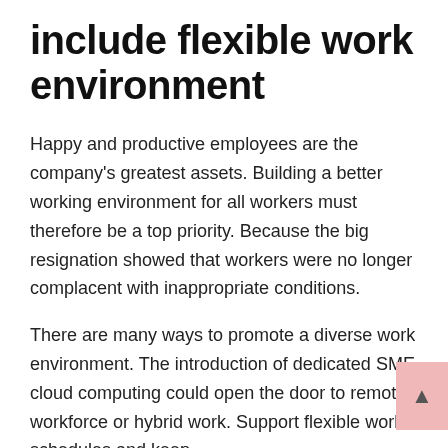include flexible work environment
Happy and productive employees are the company's greatest assets. Building a better working environment for all workers must therefore be a top priority. Because the big resignation showed that workers were no longer complacent with inappropriate conditions.
There are many ways to promote a diverse work environment. The introduction of dedicated SME cloud computing could open the door to remote workforce or hybrid work. Support flexible work schedules and keep